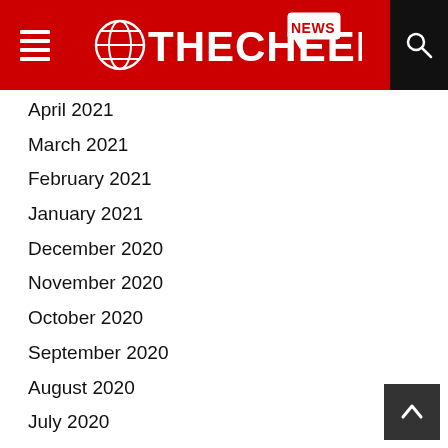THECHEER NEWS
April 2021
March 2021
February 2021
January 2021
December 2020
November 2020
October 2020
September 2020
August 2020
July 2020
June 2020
May 2020
April 2020
March 2020